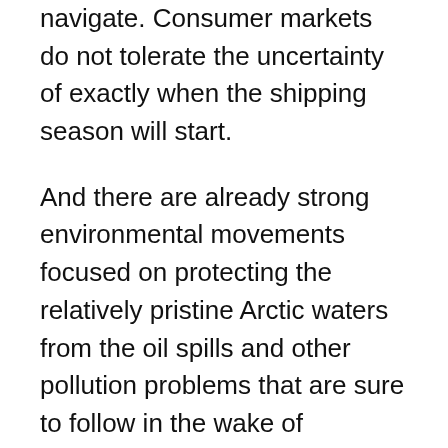navigate. Consumer markets do not tolerate the uncertainty of exactly when the shipping season will start.
And there are already strong environmental movements focused on protecting the relatively pristine Arctic waters from the oil spills and other pollution problems that are sure to follow in the wake of increased transport.
LOST at Sea
Russian interest in the Arctic Sea, as for the other four A-5 states, has also been pushed forward at an accelerated pace because of the UNCLOS treaty and its provisions, which were